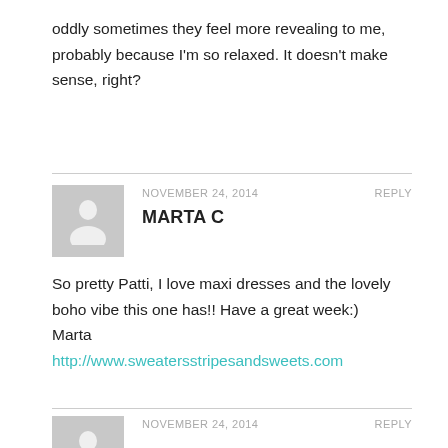oddly sometimes they feel more revealing to me, probably because I'm so relaxed. It doesn't make sense, right?
NOVEMBER 24, 2014   REPLY
MARTA C
So pretty Patti, I love maxi dresses and the lovely boho vibe this one has!! Have a great week:)
Marta
http://www.sweatersstripesandsweets.com
NOVEMBER 24, 2014   REPLY